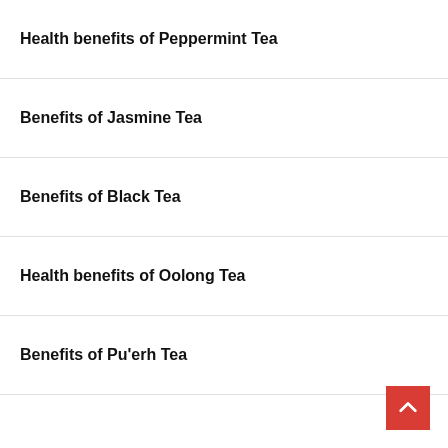Health benefits of Peppermint Tea
Benefits of Jasmine Tea
Benefits of Black Tea
Health benefits of Oolong Tea
Benefits of Pu'erh Tea